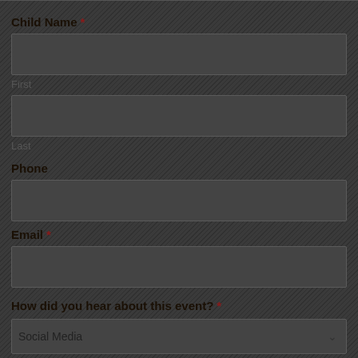Child Name *
First
Last
Phone
Email *
How did you hear about this event? *
Social Media